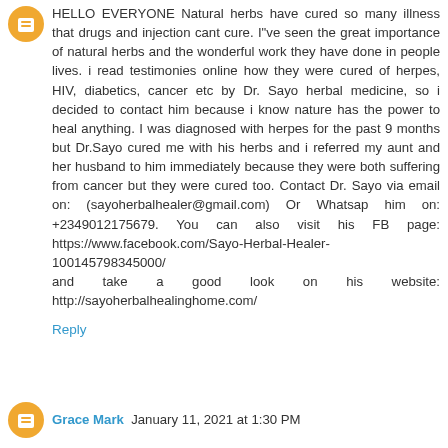HELLO EVERYONE Natural herbs have cured so many illness that drugs and injection cant cure. I''ve seen the great importance of natural herbs and the wonderful work they have done in people lives. i read testimonies online how they were cured of herpes, HIV, diabetics, cancer etc by Dr. Sayo herbal medicine, so i decided to contact him because i know nature has the power to heal anything. I was diagnosed with herpes for the past 9 months but Dr.Sayo cured me with his herbs and i referred my aunt and her husband to him immediately because they were both suffering from cancer but they were cured too. Contact Dr. Sayo via email on: (sayoherbalhealer@gmail.com) Or Whatsap him on: +2349012175679. You can also visit his FB page: https://www.facebook.com/Sayo-Herbal-Healer-100145798345000/ and take a good look on his website: http://sayoherbalhealinghome.com/
Reply
Grace Mark  January 11, 2021 at 1:30 PM